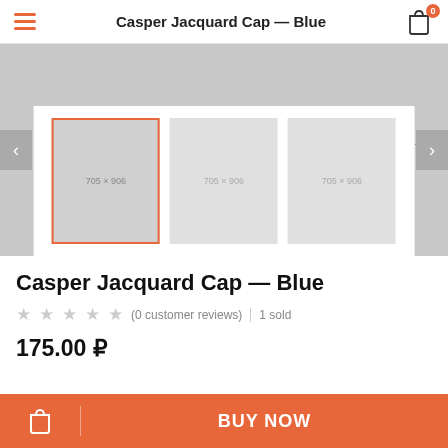Casper Jacquard Cap — Blue
[Figure (screenshot): Product image slider with gray placeholder background and three thumbnail images below. First thumbnail has orange/red border indicating selection. All thumbnails show '705 x 906' placeholder text.]
Casper Jacquard Cap — Blue
(0 customer reviews)  |  1 sold
175.00 ₽
BUY NOW